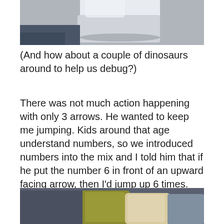[Figure (photo): Partial photo of a white box/device on a grey surface, cropped at top]
(And how about a couple of dinosaurs around to help us debug?)
There was not much action happening with only 3 arrows. He wanted to keep me jumping. Kids around that age understand numbers, so we introduced numbers into the mix and I told him that if he put the number 6 in front of an upward facing arrow, then I'd jump up 6 times.
[Figure (photo): Partial photo of colorful cushions/pillows on a sofa, cropped at bottom]